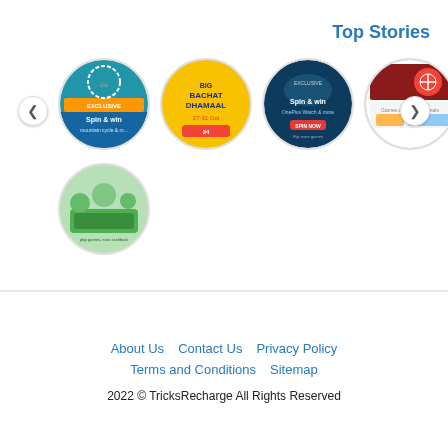Top Stories
[Figure (screenshot): Carousel of circular story thumbnails showing promotional content: Spin & win (mountain cycle), Big Bachat Dhamaal, Spin & win (OnePlus Watch), Games on Alexa Originals, and a green game thumbnail]
About Us   Contact Us   Privacy Policy   Terms and Conditions   Sitemap
2022 © TricksRecharge All Rights Reserved